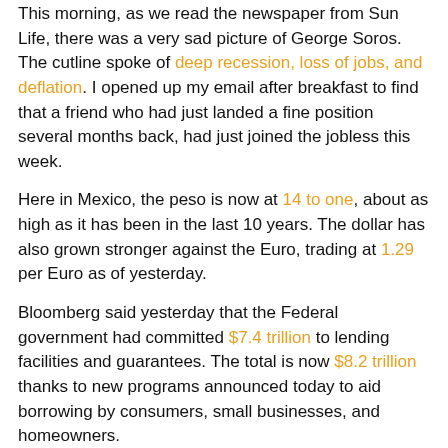This morning, as we read the newspaper from Sun Life, there was a very sad picture of George Soros. The cutline spoke of deep recession, loss of jobs, and deflation. I opened up my email after breakfast to find that a friend who had just landed a fine position several months back, had just joined the jobless this week.
Here in Mexico, the peso is now at 14 to one, about as high as it has been in the last 10 years. The dollar has also grown stronger against the Euro, trading at 1.29 per Euro as of yesterday.
Bloomberg said yesterday that the Federal government had committed $7.4 trillion to lending facilities and guarantees. The total is now $8.2 trillion thanks to new programs announced today to aid borrowing by consumers, small businesses, and homeowners.
Do you know how much money that is?
It's a new high speed rail system for the US, it's enough money to go 100% renewable, its enough money to provide real health care for all. It's 10 years of weaponry and war.